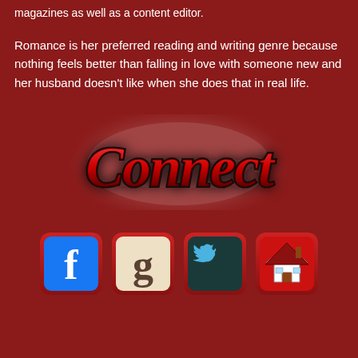magazines as well as a content editor.
Romance is her preferred reading and writing genre because nothing feels better than falling in love with someone new and her husband doesn't like when she does that in real life.
[Figure (illustration): Stylized cursive red text reading 'Connect' with a glowing white blur effect behind it on a dark red background]
[Figure (infographic): Four social media icon buttons in a row: Facebook (blue with white f), Goodreads (cream with brown g), Twitter (dark teal with white bird), and a home/website icon (red with house illustration)]